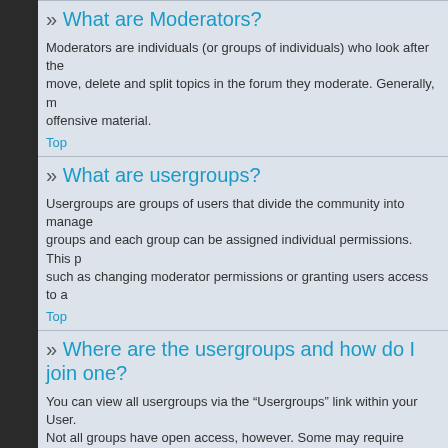» What are Moderators?
Moderators are individuals (or groups of individuals) who look after the move, delete and split topics in the forum they moderate. Generally, m offensive material.
Top
» What are usergroups?
Usergroups are groups of users that divide the community into manage groups and each group can be assigned individual permissions. This p such as changing moderator permissions or granting users access to a
Top
» Where are the usergroups and how do I join one?
You can view all usergroups via the “Usergroups” link within your User. Not all groups have open access, however. Some may require approva group is open, you can join it by clicking the appropriate button. If a gr The user group leader will need to approve your request and may ask request; they will have their reasons.
Top
» How do I become a usergroup leader?
A usergroup leader is usually assigned when usergroups are initially cr point of contact should be an administrator; try sending a private mess
Top
» Why do some usergroups appear in a different colour?
It is possible for the board administrator to assign a colour to the mem